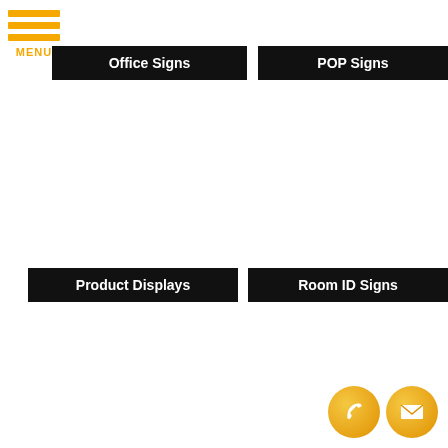[Figure (logo): Orange hamburger menu icon with three horizontal bars and MENU text below]
Office Signs
POP Signs
Product Displays
Room ID Signs
[Figure (illustration): Orange phone icon circle and orange envelope icon circle in bottom right corner]